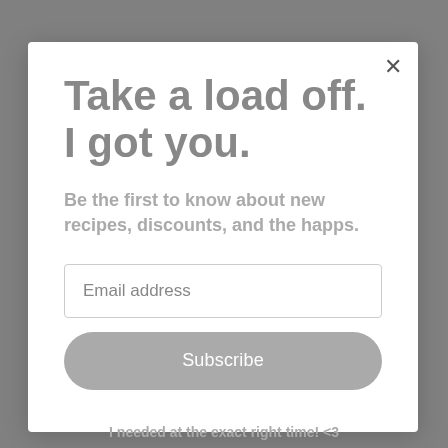Take a load off. I got you.
Be the first to know about new recipes, discounts, and the happs.
Email address
Subscribe
I needed at the exact right time! <3